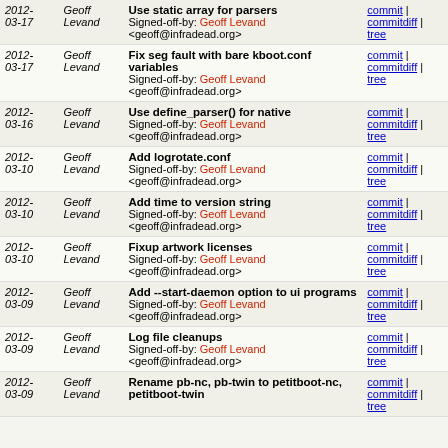| Date | Author | Message | Links |
| --- | --- | --- | --- |
| 2012-03-17 | Geoff Levand | Use static array for parsers
Signed-off-by: Geoff Levand <geoff@infradead.org> | commit | commitdiff | tree |
| 2012-03-17 | Geoff Levand | Fix seg fault with bare kboot.conf variables
Signed-off-by: Geoff Levand <geoff@infradead.org> | commit | commitdiff | tree |
| 2012-03-16 | Geoff Levand | Use define_parser() for native
Signed-off-by: Geoff Levand <geoff@infradead.org> | commit | commitdiff | tree |
| 2012-03-10 | Geoff Levand | Add logrotate.conf
Signed-off-by: Geoff Levand <geoff@infradead.org> | commit | commitdiff | tree |
| 2012-03-10 | Geoff Levand | Add time to version string
Signed-off-by: Geoff Levand <geoff@infradead.org> | commit | commitdiff | tree |
| 2012-03-10 | Geoff Levand | Fixup artwork licenses
Signed-off-by: Geoff Levand <geoff@infradead.org> | commit | commitdiff | tree |
| 2012-03-09 | Geoff Levand | Add --start-daemon option to ui programs
Signed-off-by: Geoff Levand <geoff@infradead.org> | commit | commitdiff | tree |
| 2012-03-09 | Geoff Levand | Log file cleanups
Signed-off-by: Geoff Levand <geoff@infradead.org> | commit | commitdiff | tree |
| 2012-03-09 | Geoff Levand | Rename pb-nc, pb-twin to petitboot-nc, petitboot-twin | commit | commitdiff | tree |